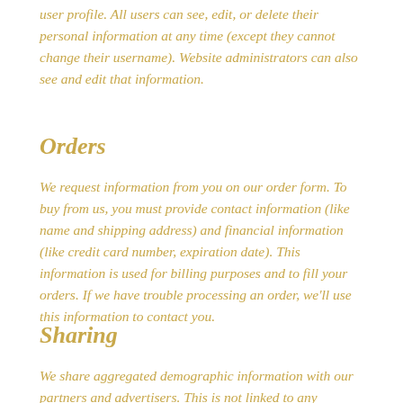user profile. All users can see, edit, or delete their personal information at any time (except they cannot change their username). Website administrators can also see and edit that information.
Orders
We request information from you on our order form. To buy from us, you must provide contact information (like name and shipping address) and financial information (like credit card number, expiration date). This information is used for billing purposes and to fill your orders. If we have trouble processing an order, we'll use this information to contact you.
Sharing
We share aggregated demographic information with our partners and advertisers. This is not linked to any